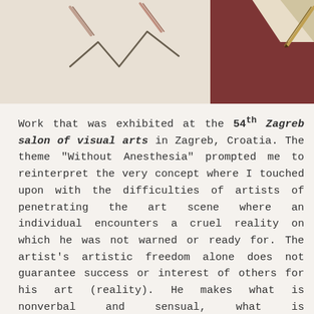[Figure (photo): Two photos side by side: left shows a pencil drawing of zigzag lines on light paper; right shows dark red/maroon surface with pencil and paper corner visible.]
Work that was exhibited at the 54th Zagreb salon of visual arts in Zagreb, Croatia. The theme "Without Anesthesia" prompted me to reinterpret the very concept where I touched upon with the difficulties of artists of penetrating the art scene where an individual encounters a cruel reality on which he was not warned or ready for. The artist's artistic freedom alone does not guarantee success or interest of others for his art (reality). He makes what is nonverbal and sensual, what is incomprehensible and empty to a person until he adds a program of analysis and explanation of the work rather than leaving it and deciding to look at the work once and with that comprehension move forward. A dose of